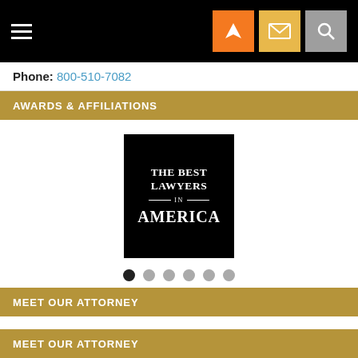Navigation bar with hamburger menu and icon buttons
Phone: 800-510-7082
AWARDS & AFFILIATIONS
[Figure (logo): The Best Lawyers in America logo — black square with white serif text]
MEET OUR ATTORNEY
https://immigration-hawaii.procurrox.com/wp-content/uploads/sites/1311/2021/11/original-1.jpg
https://www.immigration-hawaii.com/kahbo-dye-chiew/ >
MEET OUR ATTORNEY